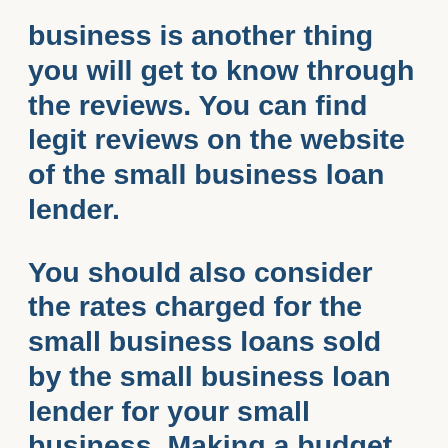business is another thing you will get to know through the reviews. You can find legit reviews on the website of the small business loan lender.
You should also consider the rates charged for the small business loans sold by the small business loan lender for your small business. Making a budget is another thing you ought to do. Through making a financial plan you will get to know the amount of money you can spend to purchase a small business loan. Another thing you can is to compare